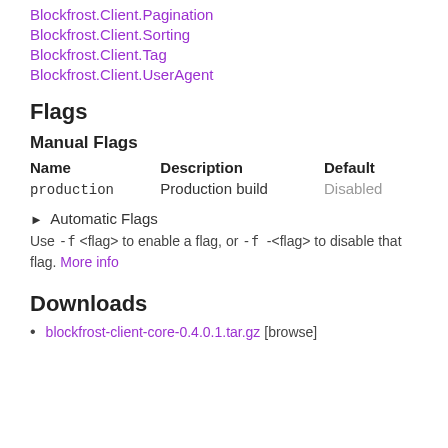Blockfrost.Client.Pagination
Blockfrost.Client.Sorting
Blockfrost.Client.Tag
Blockfrost.Client.UserAgent
Flags
Manual Flags
| Name | Description | Default |
| --- | --- | --- |
| production | Production build | Disabled |
▶ Automatic Flags
Use -f <flag> to enable a flag, or -f -<flag> to disable that flag. More info
Downloads
blockfrost-client-core-0.4.0.1.tar.gz [browse]